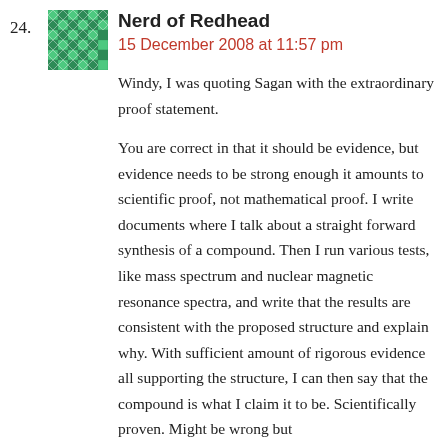24. Nerd of Redhead
15 December 2008 at 11:57 pm
Windy, I was quoting Sagan with the extraordinary proof statement.
You are correct in that it should be evidence, but evidence needs to be strong enough it amounts to scientific proof, not mathematical proof. I write documents where I talk about a straight forward synthesis of a compound. Then I run various tests, like mass spectrum and nuclear magnetic resonance spectra, and write that the results are consistent with the proposed structure and explain why. With sufficient amount of rigorous evidence all supporting the structure, I can then say that the compound is what I claim it to be. Scientifically proven. Might be wrong but